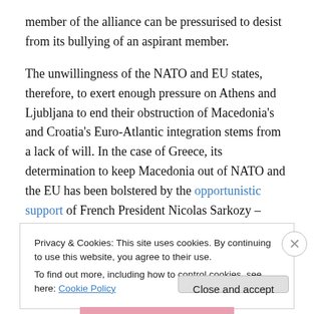member of the alliance can be pressurised to desist from its bullying of an aspirant member.
The unwillingness of the NATO and EU states, therefore, to exert enough pressure on Athens and Ljubljana to end their obstruction of Macedonia's and Croatia's Euro-Atlantic integration stems from a lack of will. In the case of Greece, its determination to keep Macedonia out of NATO and the EU has been bolstered by the opportunistic support of French President Nicolas Sarkozy – presumably an expression of his Mediterranean
Privacy & Cookies: This site uses cookies. By continuing to use this website, you agree to their use.
To find out more, including how to control cookies, see here: Cookie Policy